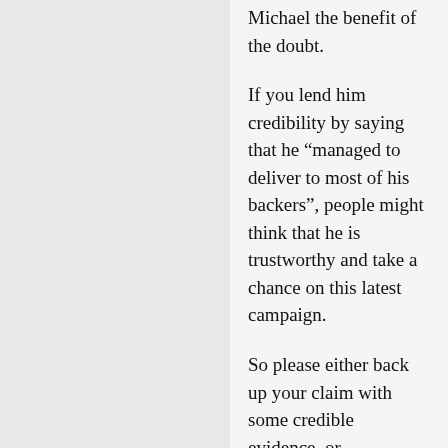…to give someone like Michael the benefit of the doubt.
If you lend him credibility by saying that he "managed to deliver to most of his backers", people might think that he is trustworthy and take a chance on this latest campaign.
So please either back up your claim with some credible evidence, or revise/retract your comment so that other people are not taken in by him.
On that note, it is now the end of May, and I have seen no indication that…